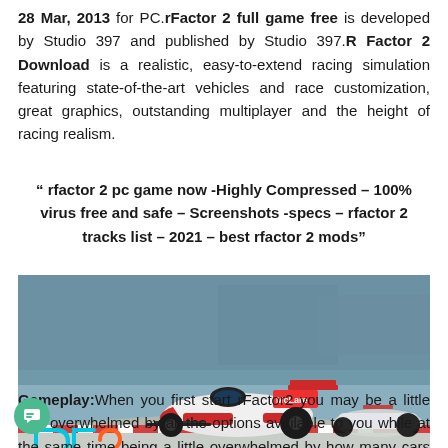28 Mar, 2013 for PC.rFactor 2 full game free is developed by Studio 397 and published by Studio 397.R Factor 2 Download is a realistic, easy-to-extend racing simulation featuring state-of-the-art vehicles and race customization, great graphics, outstanding multiplayer and the height of racing realism.
" rfactor 2 pc game now -Highly Compressed – 100% virus free and safe – Screenshots -specs – rfactor 2 tracks list – 2021 – best rfactor 2 mods"
[Figure (photo): Screenshot from rFactor 2 racing simulation showing a McLaren Formula 1 car on a racing circuit with the rFactor 2 logo in the bottom left corner]
Gameplay:When you first start rFactor2 you may be a little overwhelmed by all the options available to you while at the same time being a little overwhelmed by how many cars or courses there